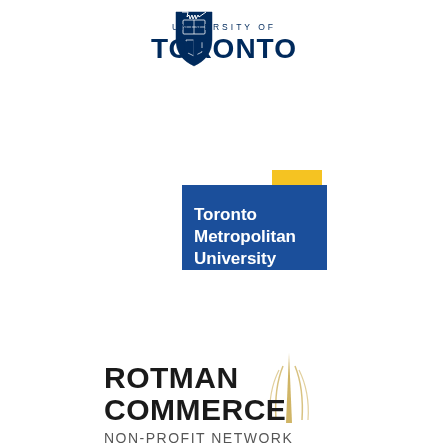[Figure (logo): University of Toronto logo with crest and text 'UNIVERSITY OF TORONTO' in dark navy]
[Figure (logo): Toronto Metropolitan University logo with blue rectangle and yellow square accent]
[Figure (logo): Rotman Commerce Non-Profit Network logo with stylized tower graphic]